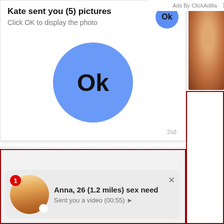Ads By ClickAdilla ×
Kate sent you (5) pictures
Click OK to display the photo
[Figure (illustration): Large blue circle Ok button in popup]
2sd
[Figure (photo): Skin-tone photo on top right]
Anna, 26 (1.2 miles) sex need
Sent you a video (00:55) ▶